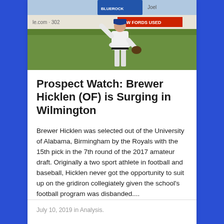[Figure (photo): Baseball player in white Wilmington Blue Rocks uniform walking on field, with advertising signage visible in background including red bar with 'NEW FORDS USED' text]
Prospect Watch: Brewer Hicklen (OF) is Surging in Wilmington
Brewer Hicklen was selected out of the University of Alabama, Birmingham by the Royals with the 15th pick in the 7th round of the 2017 amateur draft. Originally a two sport athlete in football and baseball, Hicklen never got the opportunity to suit up on the gridiron collegiately given the school's football program was disbanded....
July 10, 2019 in Analysis.